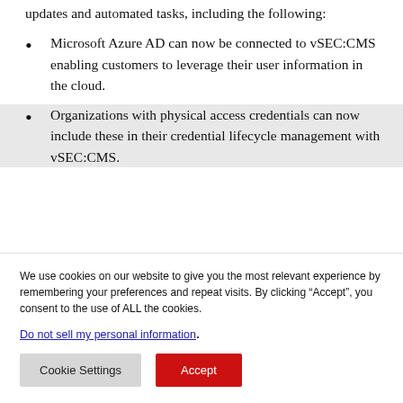updates and automated tasks, including the following:
Microsoft Azure AD can now be connected to vSEC:CMS enabling customers to leverage their user information in the cloud.
Organizations with physical access credentials can now include these in their credential lifecycle management with vSEC:CMS.
We use cookies on our website to give you the most relevant experience by remembering your preferences and repeat visits. By clicking “Accept”, you consent to the use of ALL the cookies.
Do not sell my personal information.